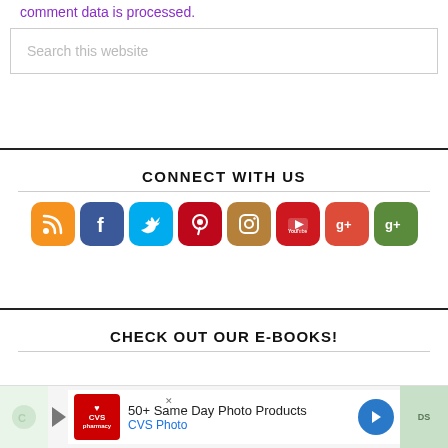comment data is processed.
[Figure (screenshot): Search box with placeholder text 'Search this website']
CONNECT WITH US
[Figure (infographic): Row of social media icon buttons: RSS (orange), Facebook (blue), Twitter (cyan), Pinterest (red), Instagram (brown), YouTube (red), Google+ (red), Google Friends (green)]
CHECK OUT OUR E-BOOKS!
[Figure (screenshot): Advertisement banner: CVS Pharmacy - 50+ Same Day Photo Products, CVS Photo]